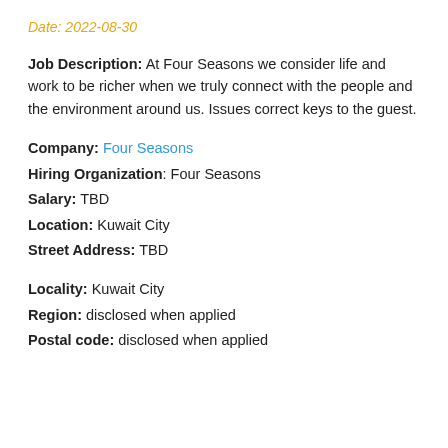Date: 2022-08-30
Job Description: At Four Seasons we consider life and work to be richer when we truly connect with the people and the environment around us. Issues correct keys to the guest.
Company: Four Seasons
Hiring Organization: Four Seasons
Salary: TBD
Location: Kuwait City
Street Address: TBD
Locality: Kuwait City
Region: disclosed when applied
Postal code: disclosed when applied